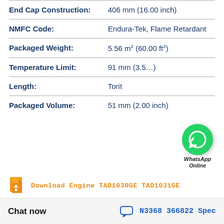| Property | Value |
| --- | --- |
| End Cap Construction: | 406 mm (16.00 inch) |
| NMFC Code: | Endura-Tek, Flame Retardant |
| Packaged Weight: | 5.56 m² (60.00 ft²) |
| Temperature Limit: | 91 mm (3.5...) |
| Length: | Torit |
| Packaged Volume: | 51 mm (2.00 inch) |
[Figure (logo): WhatsApp green circle icon with phone handset, labeled WhatsApp Online]
Download Engine TAD1030GE TAD1031GE
Chat now
N3368 366822 Spec